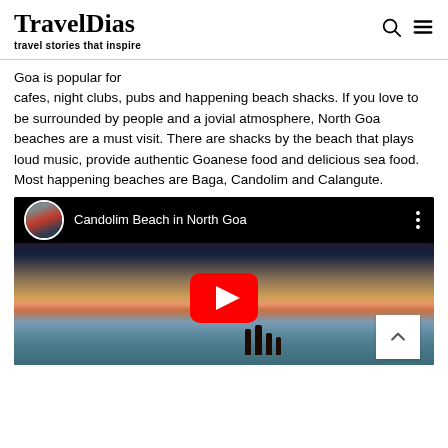TravelDias — travel stories that inspire
Goa is popular for cafes, night clubs, pubs and happening beach shacks. If you love to be surrounded by people and a jovial atmosphere, North Goa beaches are a must visit. There are shacks by the beach that plays loud music, provide authentic Goanese food and delicious sea food. Most happening beaches are Baga, Candolim and Calangute.
[Figure (screenshot): YouTube video embed showing 'Candolim Beach in North Goa' with a beach sunset thumbnail, silhouettes of people, and a YouTube play button overlay.]